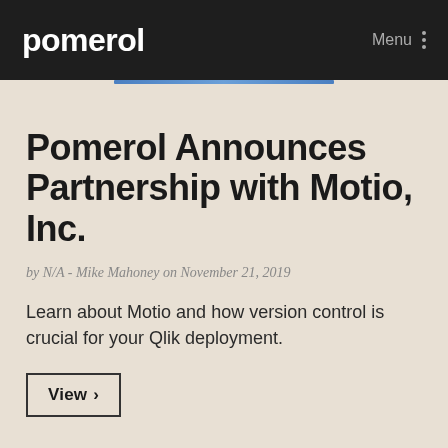pomerol    Menu
Pomerol Announces Partnership with Motio, Inc.
by N/A - Mike Mahoney on November 21, 2019
Learn about Motio and how version control is crucial for your Qlik deployment.
View >